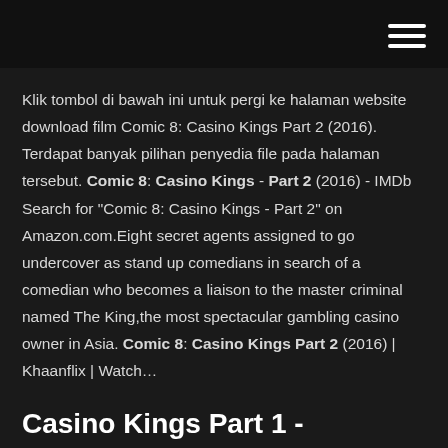Klik tombol di bawah ini untuk pergi ke halaman website download film Comic 8: Casino Kings Part 2 (2016). Terdapat banyak pilihan penyedia file pada halaman tersebut. Comic 8: Casino Kings - Part 2 (2016) - IMDb Search for "Comic 8: Casino Kings - Part 2" on Amazon.com.Eight secret agents assigned to go undercover as stand up comedians in search of a comedian who becomes a liaison to the master criminal named The King,the most spectacular gambling casino owner in Asia. Comic 8: Casino Kings Part 2 (2016) | Khaanflix | Watch…
Casino Kings Part 1 - gveasia.com